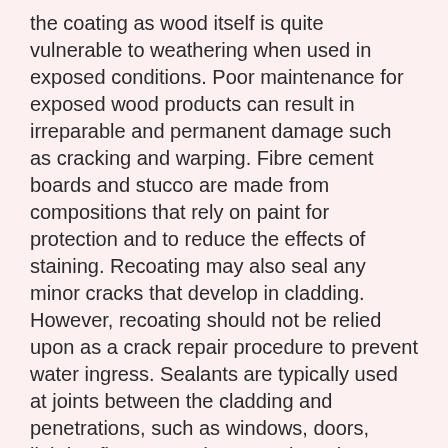the coating as wood itself is quite vulnerable to weathering when used in exposed conditions. Poor maintenance for exposed wood products can result in irreparable and permanent damage such as cracking and warping. Fibre cement boards and stucco are made from compositions that rely on paint for protection and to reduce the effects of staining. Recoating may also seal any minor cracks that develop in cladding. However, recoating should not be relied upon as a crack repair procedure to prevent water ingress. Sealants are typically used at joints between the cladding and penetrations, such as windows, doors, lighting fixtures, and vents. It is at these locations that the vast majority of water ingress occurs. Therefore, it is highly recommended that sealant joints be properly maintained and repaired. Joint profiles, preparation of substrate, and selection of an appropriate sealant product are important variables in determining the effectiveness and durability of sealant joints. Help from an experienced contractor or consultant is